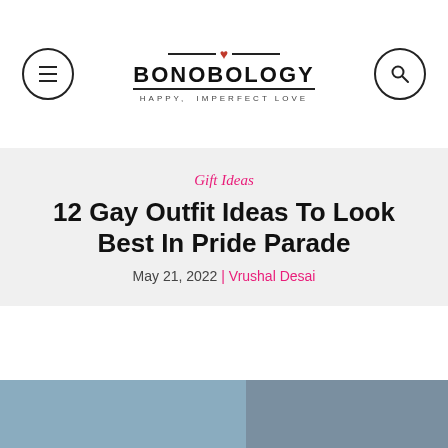[Figure (logo): Bonobology website logo with heart icon and tagline 'HAPPY, IMPERFECT LOVE', with hamburger menu icon circle on left and search icon circle on right]
Gift Ideas
12 Gay Outfit Ideas To Look Best In Pride Parade
May 21, 2022 | Vrushal Desai
[Figure (photo): Partial view of two photos at bottom of page showing people]